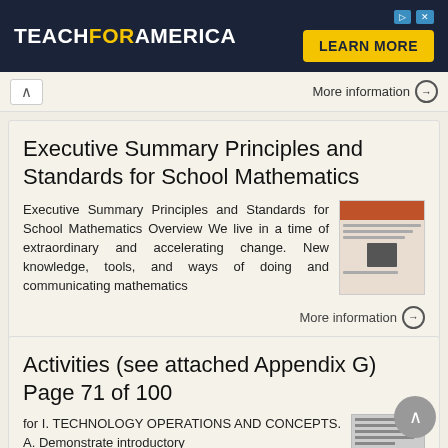[Figure (other): Teach For America advertisement banner with yellow 'LEARN MORE' button on dark navy background]
More information →
Executive Summary Principles and Standards for School Mathematics
Executive Summary Principles and Standards for School Mathematics Overview We live in a time of extraordinary and accelerating change. New knowledge, tools, and ways of doing and communicating mathematics
More information →
Activities (see attached Appendix G) Page 71 of 100
for I. TECHNOLOGY OPERATIONS AND CONCEPTS. A. Demonstrate introductory